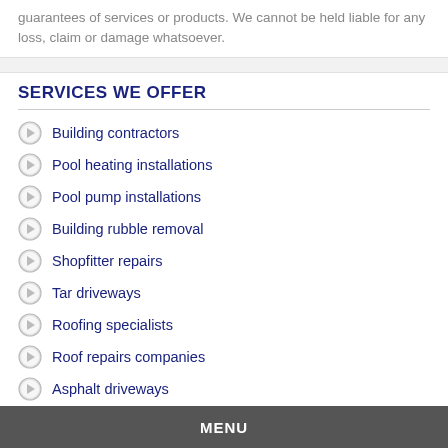guarantees of services or products. We cannot be held liable for any loss, claim or damage whatsoever.
SERVICES WE OFFER
Building contractors
Pool heating installations
Pool pump installations
Building rubble removal
Shopfitter repairs
Tar driveways
Roofing specialists
Roof repairs companies
Asphalt driveways
Elastic roof coating
MENU